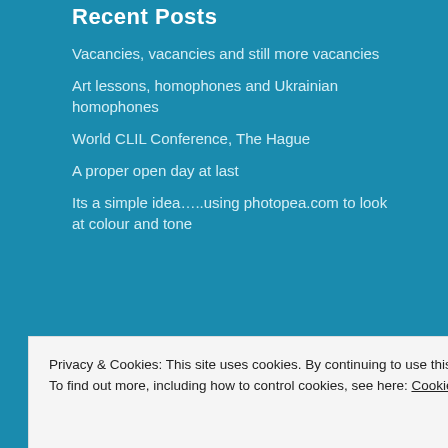Recent Posts
Vacancies, vacancies and still more vacancies
Art lessons, homophones and Ukrainian homophones
World CLIL Conference, The Hague
A proper open day at last
Its a simple idea…..using photopea.com to look at colour and tone
Privacy & Cookies: This site uses cookies. By continuing to use this website, you agree to their use.
To find out more, including how to control cookies, see here: Cookie Policy
Close and accept